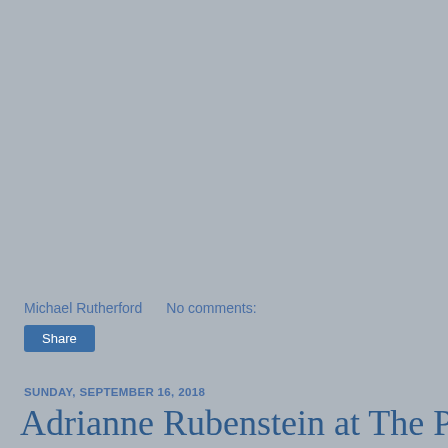Michael Rutherford    No comments:
Share
SUNDAY, SEPTEMBER 16, 2018
Adrianne Rubenstein at The Pit